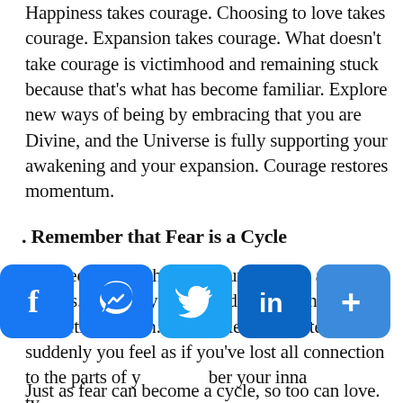Happiness takes courage. Choosing to love takes courage. Expansion takes courage. What doesn't take courage is victimhood and remaining stuck because that's what has become familiar. Explore new ways of being by embracing that you are Divine, and the Universe is fully supporting your awakening and your expansion. Courage restores momentum.
. Remember that Fear is a Cycle
Fear feeds itself through your thoughts and actions. For every fear based thought there is an energetic reaction. This cycle perpetuates and suddenly you feel as if you've lost all connection to the parts of y ber your inna ty
[Figure (infographic): Social media sharing bar with Facebook, Messenger, Twitter, LinkedIn, and More (+) icons, plus an upward scroll arrow button]
Just as fear can become a cycle, so too can love.